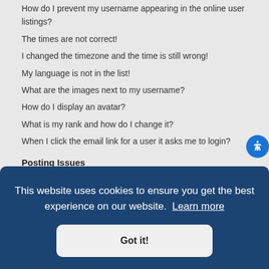How do I prevent my username appearing in the online user listings?
The times are not correct!
I changed the timezone and the time is still wrong!
My language is not in the list!
What are the images next to my username?
How do I display an avatar?
What is my rank and how do I change it?
When I click the email link for a user it asks me to login?
Posting Issues
How do I create a new topic or post a reply?
How do I edit or delete a post?
How do I add a signature to my post?
How do I create a poll?
Why can't I add more poll options?
How do I edit or delete a poll?
This website uses cookies to ensure you get the best experience on our website. Learn more
Got it!
Formatting and Topic Types